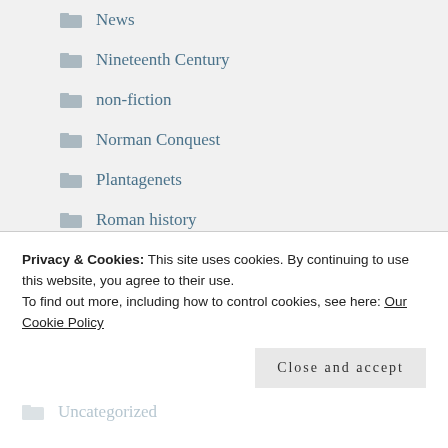News
Nineteenth Century
non-fiction
Norman Conquest
Plantagenets
Roman history
Scottish history
Seventeenth century
Stuart era
Templars (truncated)
Privacy & Cookies: This site uses cookies. By continuing to use this website, you agree to their use.
To find out more, including how to control cookies, see here: Our Cookie Policy
Close and accept
Uncategorized (truncated)